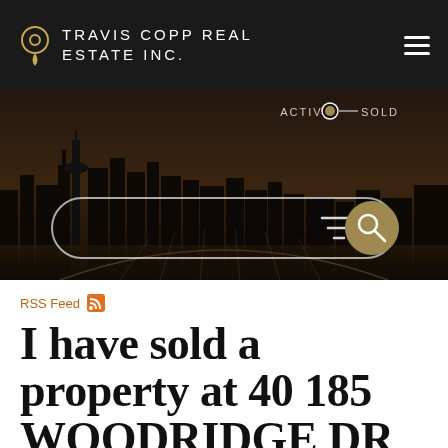TRAVIS COPP REAL ESTATE INC.
[Figure (screenshot): Hero banner showing Calgary city skyline at dusk/evening, with dark warm tones. Overlay shows ACTIVE/SOLD toggle and a search bar with filter icon and gold search button.]
RSS Feed
I have sold a property at 40 185 WOODRIDGE DR SW in CALGARY